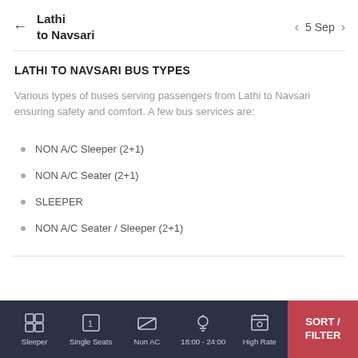Lathi to Navsari — 5 Sep
LATHI TO NAVSARI BUS TYPES
Various types of buses serving passengers from Lathi to Navsari ensuring safety and comfort. A few bus services are:
NON A/C Sleeper (2+1)
NON A/C Seater (2+1)
SLEEPER
NON A/C Seater / Sleeper (2+1)
Sleeper | Single Seats | Non AC | 18:00 - 24:00 | High Rate | SORT / FILTER